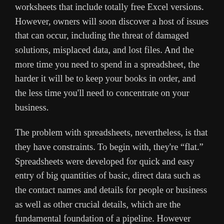worksheets that include totally free Excel versions. However, owners will soon discover a host of issues that can occur, including the threat of damaged solutions, misplaced data, and lost files. And the more time you need to spend in a spreadsheet, the harder it will be to keep your books in order, and the less time you'll need to concentrate on your business.
The problem with spreadsheets, nevertheless, is that they have constraints. To begin with, they're “flat.” Spreadsheets were developed for quick and easy entry of big quantities of basic, direct data such as the contact names and details for people or business as well as other crucial details, which are the fundamental foundation of a pipeline. However because spreadsheets are flat, they do not enable continuous tracking of crucial activities connected to an opportunity or for capturing historical details such as last actions and next actions. This type of info can be extremely essential when trying to move opportunities forward or identify the best